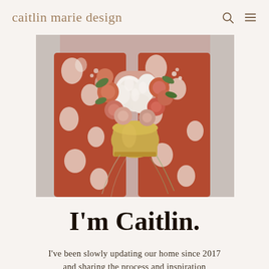caitlin marie design
[Figure (photo): A person wearing a white and rust/terracotta floral patterned dress holding a large floral bouquet with white peonies, peach and coral roses, and greenery in a gold/metallic vase, photographed from neck down against a light gray background.]
I'm Caitlin.
I've been slowly updating our home since 2017 and sharing the process and inspiration